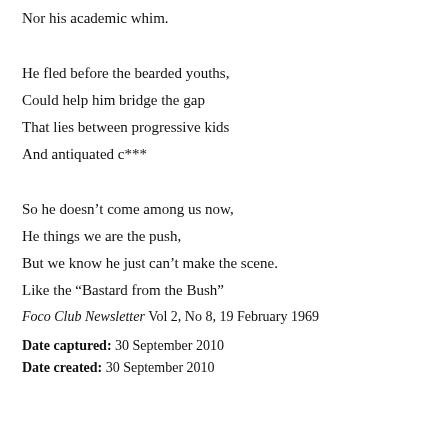Nor his academic whim.
He fled before the bearded youths,
Could help him bridge the gap
That lies between progressive kids
And antiquated c***
So he doesn’t come among us now,
He things we are the push,
But we know he just can’t make the scene.
Like the “Bastard from the Bush”
Foco Club Newsletter Vol 2, No 8, 19 February 1969
Date captured:  30 September 2010
Date created:  30 September 2010